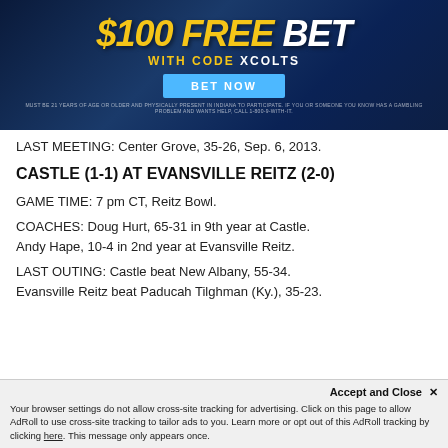[Figure (other): Advertisement banner: $100 FREE BET with code XCOLTS, BET NOW button, gambling disclaimer text]
LAST MEETING: Center Grove, 35-26, Sep. 6, 2013.
CASTLE (1-1) AT EVANSVILLE REITZ (2-0)
GAME TIME: 7 pm CT, Reitz Bowl.
COACHES: Doug Hurt, 65-31 in 9th year at Castle. Andy Hape, 10-4 in 2nd year at Evansville Reitz.
LAST OUTING: Castle beat New Albany, 55-34. Evansville Reitz beat Paducah Tilghman (Ky.), 35-23.
Accept and Close ✕ Your browser settings do not allow cross-site tracking for advertising. Click on this page to allow AdRoll to use cross-site tracking to tailor ads to you. Learn more or opt out of this AdRoll tracking by clicking here. This message only appears once.